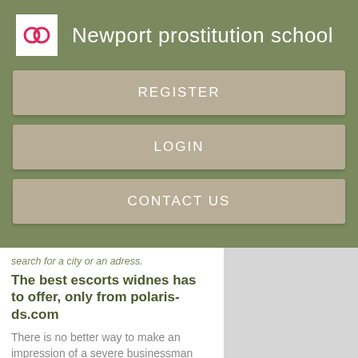Newport prostitution school
[Figure (screenshot): App navigation buttons: REGISTER, LOGIN, CONTACT US on olive green background]
search for a city or an adress.
The best escorts widnes has to offer, only from polaris-ds.com
There is no better way to make an impression of a severe businessman than a sexy cheap escort girl by your side. The